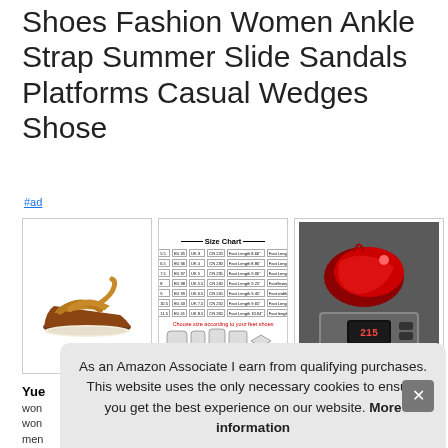Shoes Fashion Women Ankle Strap Summer Slide Sandals Platforms Casual Wedges Shose
#ad
[Figure (photo): Brown leather wedge sandal with ankle strap and cross-strap front]
[Figure (table-as-image): Size Chart image showing measurements table and foot diagrams]
[Figure (photo): Red shoes in packaging on a digital scale showing 215]
Yue... women... women... men...
As an Amazon Associate I earn from qualifying purchases. This website uses the only necessary cookies to ensure you get the best experience on our website. More information